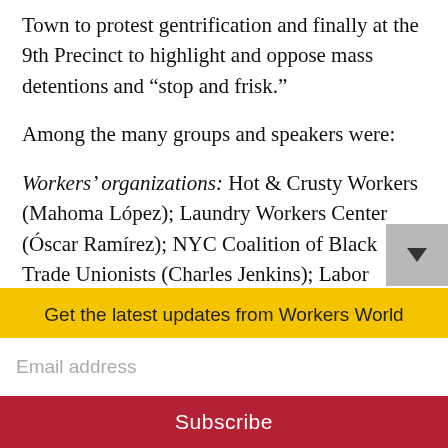Town to protest gentrification and finally at the 9th Precinct to highlight and oppose mass detentions and “stop and frisk.”
Among the many groups and speakers were:
Workers’ organizations: Hot & Crusty Workers (Mahoma López); Laundry Workers Center (Óscar Ramírez); NYC Coalition of Black Trade Unionists (Charles Jenkins); Labor Immigrant Alliance (Santos Crespo, AFSCME Local 372); AFSCME Local 375 (Michelle Keller); Int’l Working Women
Get the latest updates from Workers World
Email address
Subscribe